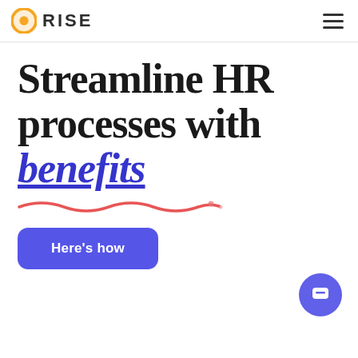RISE
Streamline HR processes with benefits
[Figure (illustration): Decorative animated underline/squiggle in red-pink color below the title word 'benefits']
Here's how